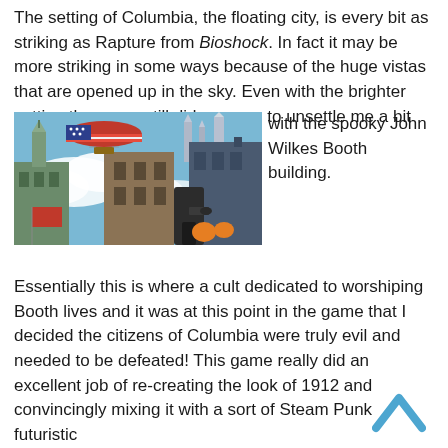The setting of Columbia, the floating city, is every bit as striking as Rapture from Bioshock. In fact it may be more striking in some ways because of the huge vistas that are opened up in the sky. Even with the brighter setting the game still did manage to unsettle me a bit with the spooky John Wilkes Booth building.
[Figure (photo): A screenshot from BioShock Infinite showing the floating city of Columbia with a blimp bearing an American flag design in the sky, steampunk-style architecture, clouds, and the player character's hands holding a weapon in the foreground.]
Essentially this is where a cult dedicated to worshiping Booth lives and it was at this point in the game that I decided the citizens of Columbia were truly evil and needed to be defeated! This game really did an excellent job of re-creating the look of 1912 and convincingly mixing it with a sort of Steam Punk futuristic